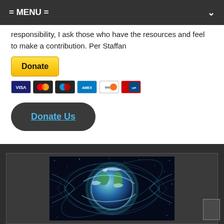= MENU =
responsibility, I ask those who have the resources and feel to make a contribution. Per Staffan
[Figure (screenshot): PayPal Donate button with credit card icons (Visa, Mastercard, Maestro, Amex, Discover, UnionPay)]
Donate Us
[Figure (illustration): Earth globe with swirling cosmic energy/magnetic field lines in space, dark blue and teal tones]